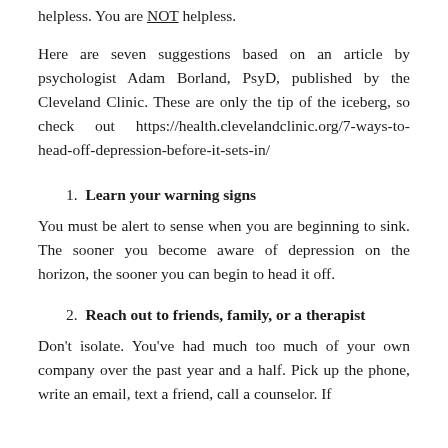helpless. You are NOT helpless.
Here are seven suggestions based on an article by psychologist Adam Borland, PsyD, published by the Cleveland Clinic. These are only the tip of the iceberg, so check out https://health.clevelandclinic.org/7-ways-to-head-off-depression-before-it-sets-in/
1. Learn your warning signs
You must be alert to sense when you are beginning to sink. The sooner you become aware of depression on the horizon, the sooner you can begin to head it off.
2. Reach out to friends, family, or a therapist
Don't isolate. You've had much too much of your own company over the past year and a half. Pick up the phone, write an email, text a friend, call a counselor. If